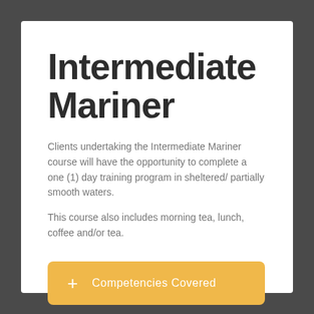Intermediate Mariner
Clients undertaking the Intermediate Mariner course will have the opportunity to complete a one (1) day training program in sheltered/ partially smooth waters.
This course also includes morning tea, lunch, coffee and/or tea.
+ Competencies Covered